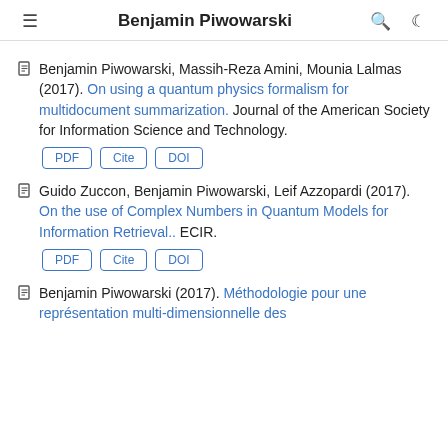Benjamin Piwowarski
Benjamin Piwowarski, Massih-Reza Amini, Mounia Lalmas (2017). On using a quantum physics formalism for multidocument summarization. Journal of the American Society for Information Science and Technology.
Guido Zuccon, Benjamin Piwowarski, Leif Azzopardi (2017). On the use of Complex Numbers in Quantum Models for Information Retrieval.. ECIR.
Benjamin Piwowarski (2017). Méthodologie pour une représentation multi-dimensionnelle des